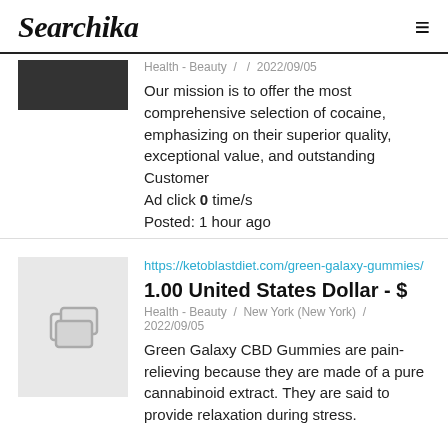Searchika
Health - Beauty / / 2022/09/05
Our mission is to offer the most comprehensive selection of cocaine, emphasizing on their superior quality, exceptional value, and outstanding Customer Ad click 0 time/s Posted: 1 hour ago
[Figure (photo): Thumbnail image placeholder with card icons]
https://ketoblastdiet.com/green-galaxy-gummies/
1.00 United States Dollar - $
Health - Beauty / New York (New York) / 2022/09/05
Green Galaxy CBD Gummies are pain-relieving because they are made of a pure cannabinoid extract. They are said to provide relaxation during stress.